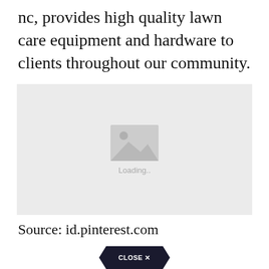nc, provides high quality lawn care equipment and hardware to clients throughout our community.
[Figure (photo): Image placeholder with loading indicator showing a grey box with a mountain/photo icon and 'Loading..' text]
Source: id.pinterest.com